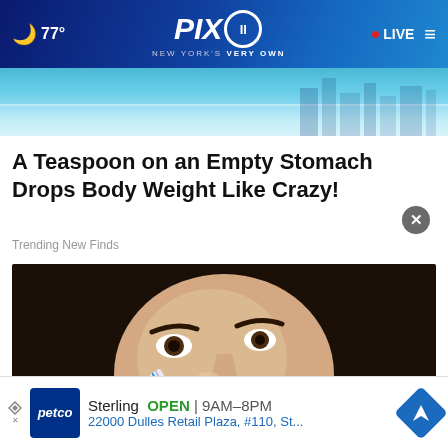77° PIX11 NEW YORK'S VERY OWN · LIVE
[Figure (photo): PIX11 website banner with teal/blue cityscape background]
A Teaspoon on an Empty Stomach Drops Body Weight Like Crazy!
Trending New Finds
[Figure (photo): Close-up photo of a woman with dark hair holding a toothbrush near her nose/face]
Sterling  OPEN | 9AM–8PM  22000 Dulles Retail Plaza, #110, St...